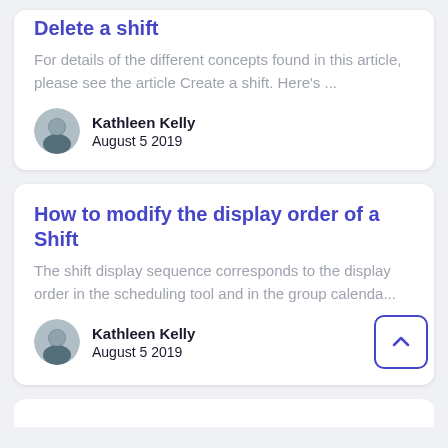Delete a shift
For details of the different concepts found in this article, please see the article Create a shift. Here's ...
Kathleen Kelly
August 5 2019
How to modify the display order of a Shift
The shift display sequence corresponds to the display order in the scheduling tool and in the group calenda...
Kathleen Kelly
August 5 2019